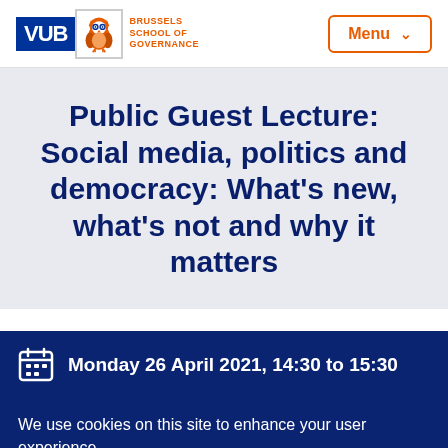[Figure (logo): VUB Brussels School of Governance logo]
Menu
Public Guest Lecture: Social media, politics and democracy: What's new, what's not and why it matters
Monday 26 April 2021, 14:30 to 15:30
We use cookies on this site to enhance your user experience.
By clicking the 'OK, I agree' button, you agree to us